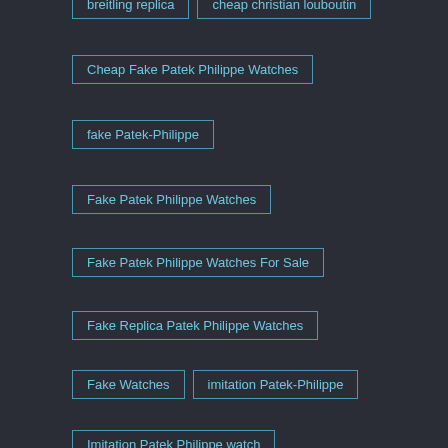breitling replica
cheap christian louboutin
Cheap Fake Patek Philippe Watches
fake Patek-Philippe
Fake Patek Philippe Watches
Fake Patek Philippe Watches For Sale
Fake Replica Patek Philippe Watches
Fake Watches
imitation Patek-Philippe
Imitation Patek Philippe watch
patek philippe fake
Patek Philippe Fake Watches
patek philippe geneve fake